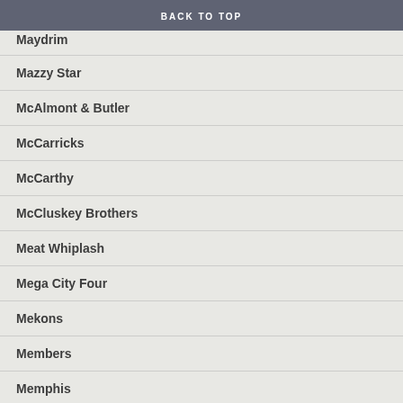BACK TO TOP
Maydrim
Mazzy Star
McAlmont & Butler
McCarricks
McCarthy
McCluskey Brothers
Meat Whiplash
Mega City Four
Mekons
Members
Memphis
Menace Beach
Menswear